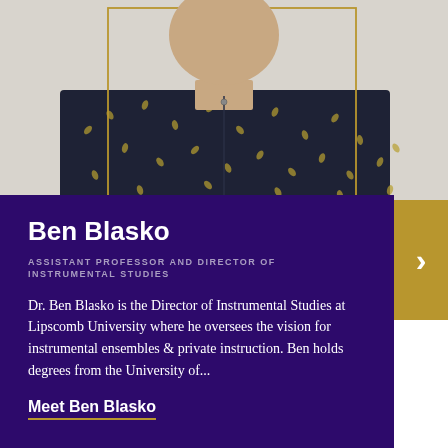[Figure (photo): Headshot/upper body photo of Ben Blasko wearing a dark navy patterned button-down shirt, with a gold rectangular border overlay on a light background]
Ben Blasko
ASSISTANT PROFESSOR AND DIRECTOR OF INSTRUMENTAL STUDIES
Dr. Ben Blasko is the Director of Instrumental Studies at Lipscomb University where he oversees the vision for instrumental ensembles & private instruction. Ben holds degrees from the University of...
Meet Ben Blasko